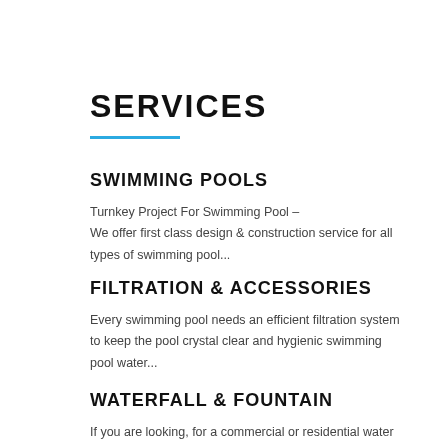SERVICES
SWIMMING POOLS
Turnkey Project For Swimming Pool – We offer first class design & construction service for all types of swimming pool...
FILTRATION & ACCESSORIES
Every swimming pool needs an efficient filtration system to keep the pool crystal clear and hygienic swimming pool water...
WATERFALL & FOUNTAIN
If you are looking, for a commercial or residential water fountain or waterfall, you have come to the right place!